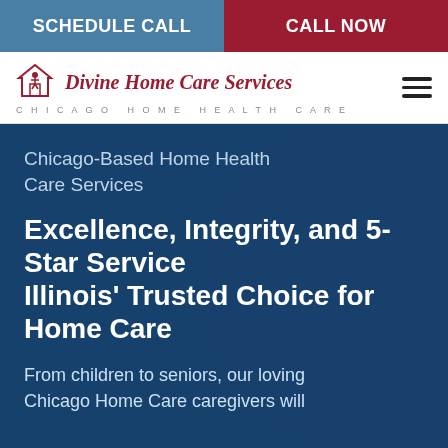SCHEDULE CALL | CALL NOW
[Figure (logo): Divine Home Care Services logo with house/caregiver icon and tagline Chicago Home Health Care]
Chicago-Based Home Health Care Services
Excellence, Integrity, and 5-Star Service Illinois' Trusted Choice for Home Care
From children to seniors, our loving Chicago Home Care caregivers will